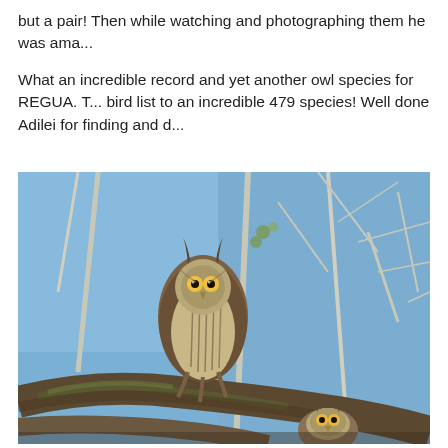but a pair! Then while watching and photographing them he was ama...
What an incredible record and yet another owl species for REGUA. T... bird list to an incredible 479 species! Well done Adilei for finding and d...
[Figure (photo): Two great horned owls perched on a tree branch against a blue sky. One owl is prominently displayed facing the camera, the second owl is visible at the bottom right of the image.]